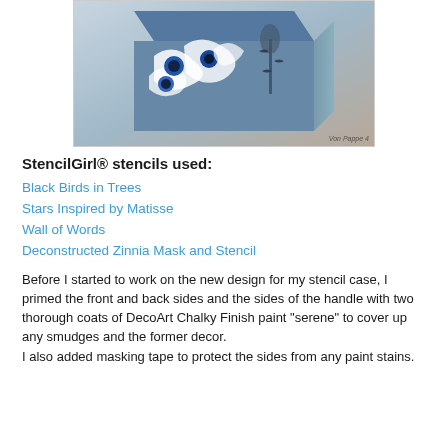[Figure (photo): A decorated box/stencil case with blue floral and bird patterns on a white/grey background. Photo credit reads 'Von Pappe 4'.]
StencilGirl® stencils used:
Black Birds in Trees
Stars Inspired by Matisse
Wall of Words
Deconstructed Zinnia Mask and Stencil
Before I started to work on the new design for my stencil case, I primed the front and back sides and the sides of the handle with two thorough coats of DecoArt Chalky Finish paint "serene" to cover up any smudges and the former decor.
I also added masking tape to protect the sides from any paint stains.